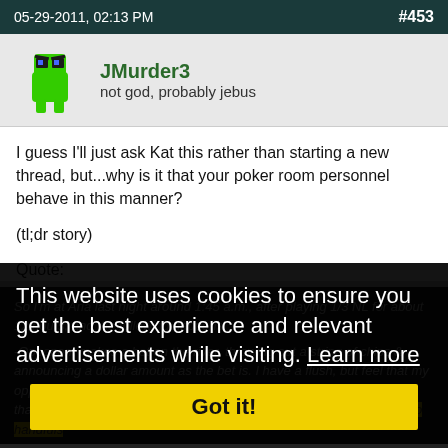05-29-2011, 02:13 PM   #453
JMurder3
not god, probably jebus
I guess I'll just ask Kat this rather than starting a new thread, but...why is it that your poker room personnel behave in this manner?
(tl;dr story)
Quote:
So I'm at Aria last night around 1:45 a.m., after playing 1/3 NL for about 12 hours, and the following happens:
-Opponent makes a bet on the river, throwing out a string of chips & announcing a dollar amount as the bet is. I have a flush, but feel that my opponent might have caught a full house on river, so I call, but rather than slowing the game down & asking for an exact count I just take two handfuls of chips to make sure I have the bet covered & sort of dump them in a pile over the line, saying call.
This website uses cookies to ensure you get the best experience and relevant advertisements while visiting. Learn more
Got it!